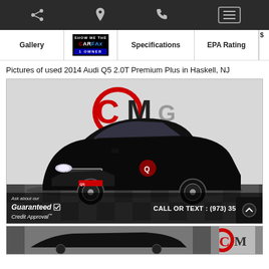Navigation bar with share, location, phone, and menu icons
Gallery | SHOW ME THE CARFAX 1 OWNER | Specifications | EPA Rating
Pictures of used 2014 Audi Q5 2.0T Premium Plus in Haskell, NJ
[Figure (photo): Black 2014 Audi Q5 SUV front-side view in a dealership showroom. City Motor Group logo visible on the wall behind the car. Bottom overlay shows 'Ask about our Guaranteed Credit Approval' on the left and 'CALL OR TEXT : (973) 355-7964' on the right.]
[Figure (photo): Partial thumbnail strip at the bottom showing additional vehicle photos, with City Motor Group logo partially visible.]